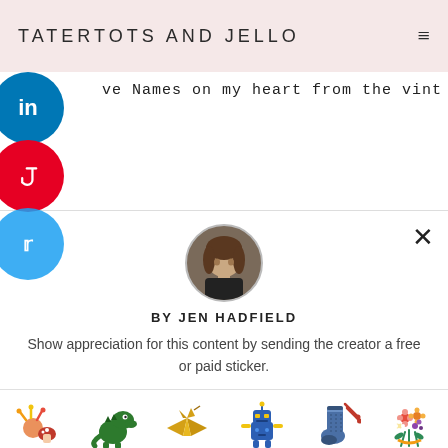TATERTOTS AND JELLO
ve Names on my heart from the vintage pearl
[Figure (screenshot): Social share sidebar buttons: LinkedIn (blue), Pinterest (red), Twitter (light blue), partially visible]
[Figure (photo): Circular avatar photo of Jen Hadfield]
BY JEN HADFIELD
Show appreciation for this content by sending the creator a free or paid sticker.
[Figure (illustration): Six sticker options with prices: Free (starfish/mushroom), $1.00 (green dinosaur), $2.00 (gold origami crane), $4.00 (blue robot), $8.00 (blue knitted sock with needles), $12.00 (flower bouquet)]